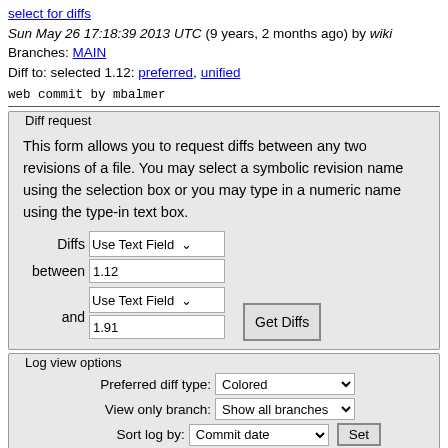select for diffs
Sun May 26 17:18:39 2013 UTC (9 years, 2 months ago) by wiki
Branches: MAIN
Diff to: selected 1.12: preferred, unified
web commit by mbalmer
Diff request
This form allows you to request diffs between any two revisions of a file. You may select a symbolic revision name using the selection box or you may type in a numeric name using the type-in text box.
Diffs [Use Text Field] between [1.12]
and [Use Text Field] [1.91] [Get Diffs]
Log view options
Preferred diff type: [Colored]
View only branch: [Show all branches]
Sort log by: [Commit date] [Set]